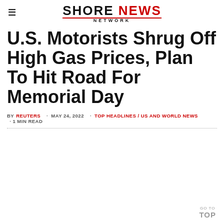SHORE NEWS NETWORK
U.S. Motorists Shrug Off High Gas Prices, Plan To Hit Road For Memorial Day
BY REUTERS · MAY 24, 2022 · TOP HEADLINES / US AND WORLD NEWS · 1 MIN READ